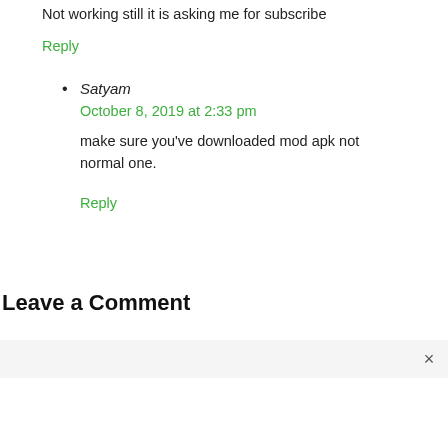Not working still it is asking me for subscribe
Reply
Satyam
October 8, 2019 at 2:33 pm
make sure you've downloaded mod apk not normal one.
Reply
Leave a Comment
×